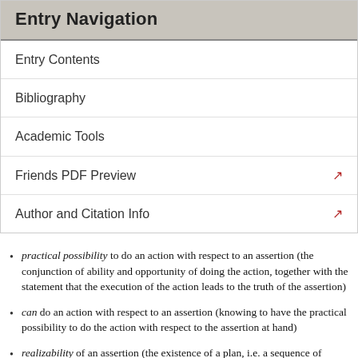Entry Navigation
Entry Contents
Bibliography
Academic Tools
Friends PDF Preview
Author and Citation Info
practical possibility to do an action with respect to an assertion (the conjunction of ability and opportunity of doing the action, together with the statement that the execution of the action leads to the truth of the assertion)
can do an action with respect to an assertion (knowing to have the practical possibility to do the action with respect to the assertion at hand)
realizability of an assertion (the existence of a plan, i.e. a sequence of atomic actions, which the agent